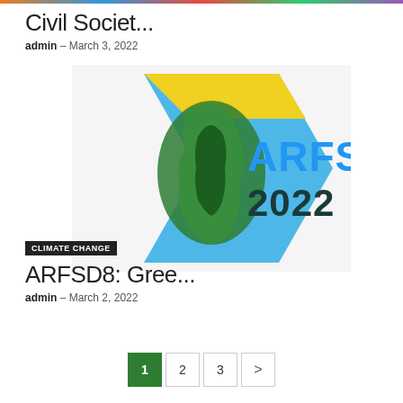Civil Societ...
admin – March 3, 2022
[Figure (logo): ARFSD 2022 logo with Africa continent graphic in green and blue tones, with blue arrow shape and text 'ARFSD 2022']
CLIMATE CHANGE
ARFSD8: Gree...
admin – March 2, 2022
1 2 3 >